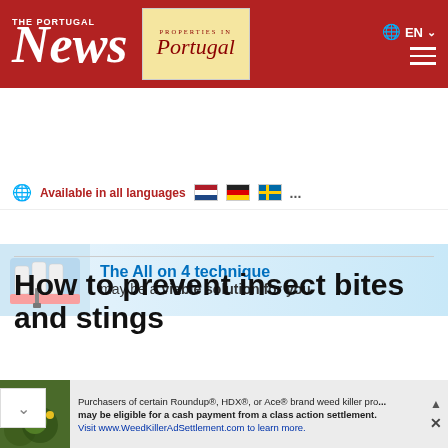The Portugal News — Properties in Portugal — EN
Available in all languages ...
[Figure (infographic): Advertisement banner for dental implants: The All on 4 technique may be a viable solution for you]
Home / Home & Garden / How to prevent insect bites and stings
How to prevent insect bites and stings
Here comes the sun – and shorts, T-
[Figure (infographic): Bottom advertisement: Purchasers of certain Roundup®, HDX®, or Ace® brand weed killer products may be eligible for a cash payment from a class action settlement. Visit www.WeedKillerAdSettlement.com to learn more.]